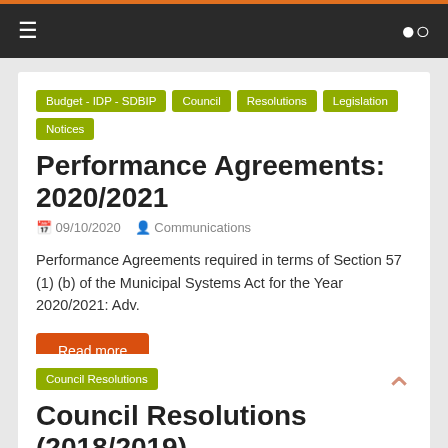≡  🔍
Budget - IDP - SDBIP
Council Resolutions
Legislation
Notices
Performance Agreements: 2020/2021
09/10/2020   Communications
Performance Agreements required in terms of Section 57 (1) (b) of the Municipal Systems Act for the Year 2020/2021: Adv.
Read more
Council Resolutions
Council Resolutions (2018/2019)